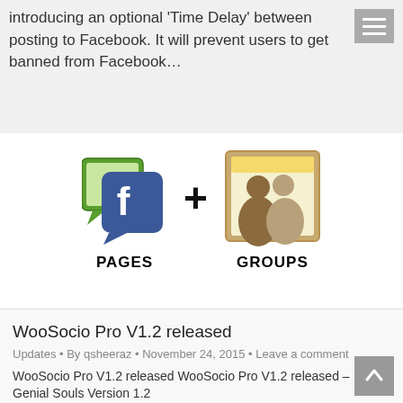introducing an optional 'Time Delay' between posting to Facebook. It will prevent users to get banned from Facebook…
[Figure (illustration): Facebook Pages + Groups illustration: Facebook pages icon (green speech bubble behind blue Facebook logo speech bubble) plus a Groups icon (framed image with two silhouettes). Labels: PAGES and GROUPS.]
WooSocio Pro V1.2 released
Updates • By qsheeraz • November 24, 2015 • Leave a comment
WooSocio Pro V1.2 released WooSocio Pro V1.2 released – Genial Souls Version 1.2